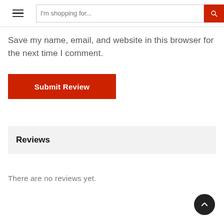I'm shopping for...
Save my name, email, and website in this browser for the next time I comment.
Submit Review
Reviews
There are no reviews yet.